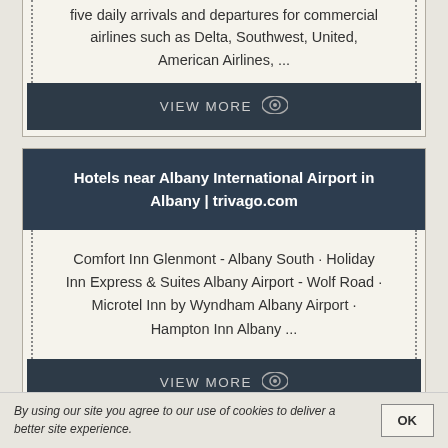five daily arrivals and departures for commercial airlines such as Delta, Southwest, United, American Airlines, ...
VIEW MORE
Hotels near Albany International Airport in Albany | trivago.com
Comfort Inn Glenmont - Albany South · Holiday Inn Express & Suites Albany Airport - Wolf Road · Microtel Inn by Wyndham Albany Airport · Hampton Inn Albany ...
VIEW MORE
By using our site you agree to our use of cookies to deliver a better site experience.